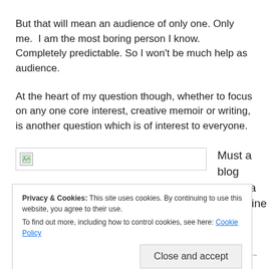But that will mean an audience of only one. Only me.  I am the most boring person I know. Completely predictable. So I won't be much help as audience.
At the heart of my question though, whether to focus on any one core interest, creative memoir or writing,  is another question which is of interest to everyone.
[Figure (other): Broken image placeholder (image failed to load) on the left, with text 'Must a blog follow a magazine' on the right]
Privacy & Cookies: This site uses cookies. By continuing to use this website, you agree to their use.
To find out more, including how to control cookies, see here: Cookie Policy
Close and accept